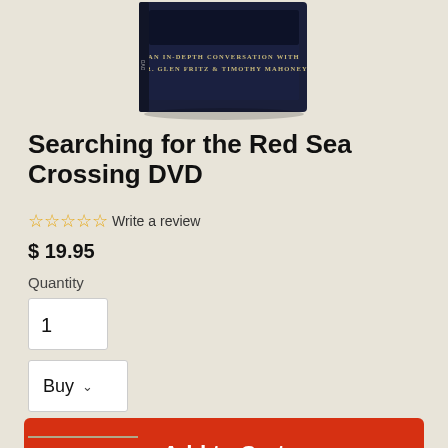[Figure (photo): DVD case for 'Searching for the Red Sea Crossing' with text 'An In-Depth Conversation with Dr. Glen Fritz & Timothy Mahoney' visible on cover, partially cropped at top]
Searching for the Red Sea Crossing DVD
☆☆☆☆☆ Write a review
$ 19.95
Quantity
1
Buy
Add to Cart